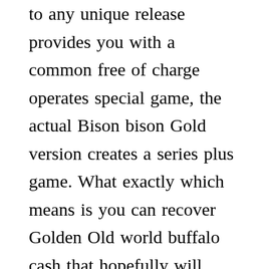to any unique release provides you with a common free of charge operates special game, the actual Bison bison Gold version creates a series plus game. What exactly which means is you can recover Golden Old world buffalo cash that hopefully will transform representations to jackpot designs with respect to all of those other advantage gameplay, escalating your odds of being successful by a vast margin. Keeping that in mind, and not wagering on the per-line justification like with a number of slot